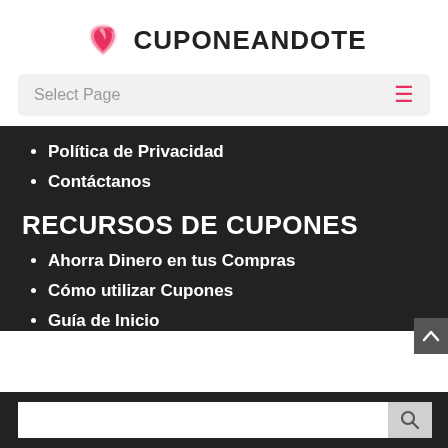[Figure (logo): Cuponeandote logo: pink flame/hand icon with text CUPONEANDOTE in bold black]
Select Page
Política de Privacidad
Contáctanos
RECURSOS DE CUPONES
Ahorra Dinero en tus Compras
Cómo utilizar Cupones
Guía de Inicio